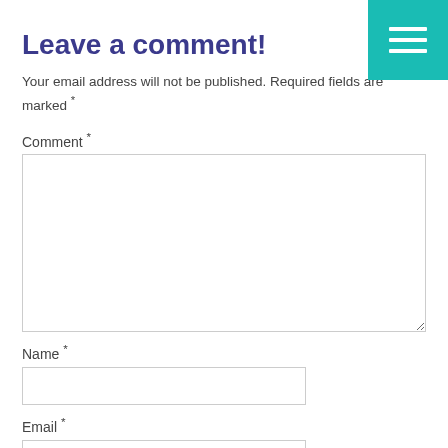Leave a comment!
[Figure (other): Teal hamburger menu button icon in top right corner]
Your email address will not be published. Required fields are marked *
Comment *
[Figure (other): Large empty comment text area input box]
Name *
[Figure (other): Name text input field]
Email *
[Figure (other): Email text input field]